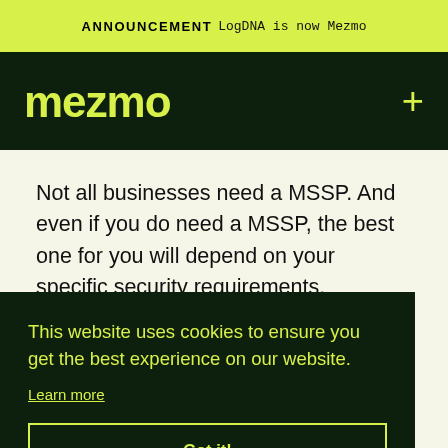ANNOUNCEMENT LogDNA is now Mezmo
[Figure (logo): Mezmo logo in lime green on dark background navigation bar with plus icon]
Not all businesses need a MSSP. And even if you do need a MSSP, the best one for you will depend on your specific security requirements.
This website uses cookies to ensure you get the best experience on our website. Learn more Got it!
a MSSP will effectively become your security